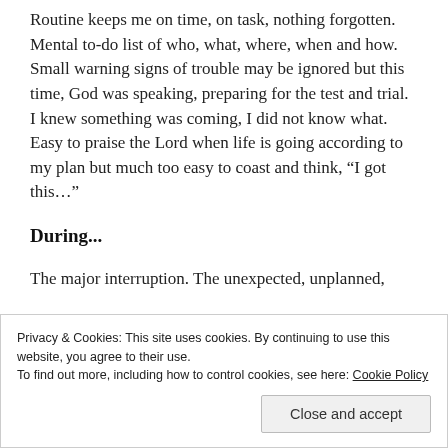Routine keeps me on time, on task, nothing forgotten.  Mental to-do list of who, what, where, when and how.  Small warning signs of trouble may be ignored but this time, God was speaking, preparing for the test and trial.  I knew something was coming, I did not know what.  Easy to praise the Lord when life is going according to my plan but much too easy to coast and think, “I got this…”
During...
The major interruption.  The unexpected, unplanned,
Privacy & Cookies: This site uses cookies. By continuing to use this website, you agree to their use.
To find out more, including how to control cookies, see here: Cookie Policy